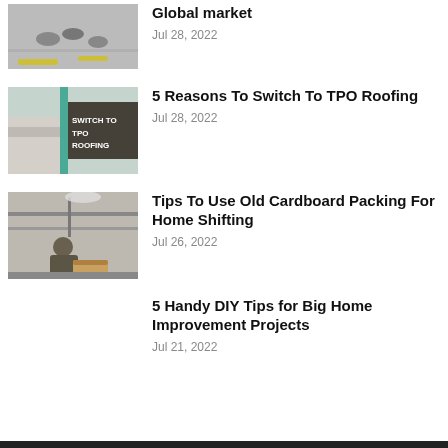[Figure (photo): Partially visible image at top, appears to show birds or animals on a surface with yellow markings]
Global market
Jul 28, 2022
[Figure (photo): Image showing a rooftop with a dark sign reading 'SWITCH TO TPO ROOFING' with teal/green accent]
5 Reasons To Switch To TPO Roofing
Jul 28, 2022
[Figure (photo): Indoor workspace image showing a person working with cardboard boxes under a lamp]
Tips To Use Old Cardboard Packing For Home Shifting
Jul 26, 2022
5 Handy DIY Tips for Big Home Improvement Projects
Jul 21, 2022